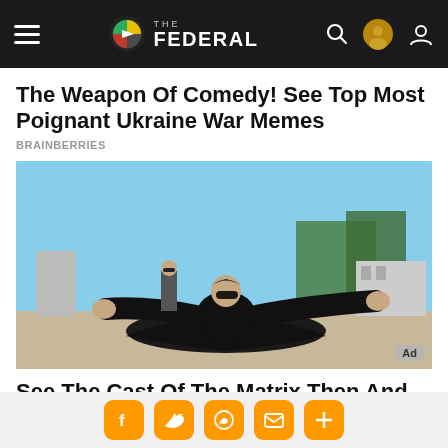THE FEDERAL
The Weapon Of Comedy! See Top Most Poignant Ukraine War Memes
BRAINBERRIES
[Figure (photo): A person in a black coat and sunglasses sprawling on a rooftop with arms outstretched, resembling a Matrix movie scene. Another person stands in the background. An 'Ad' badge is visible in the bottom-right corner.]
See The Cast Of The Matrix Then And Now
BRAINBERRIES
Social share icons: Facebook, Twitter, WhatsApp, Email, More